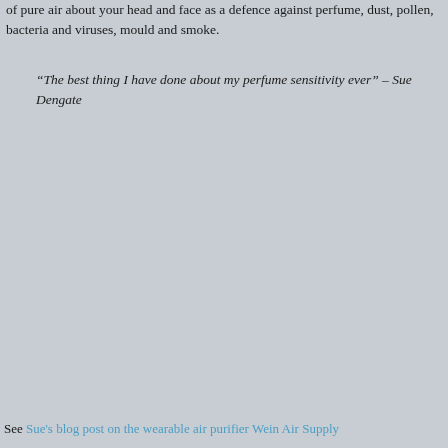of pure air about your head and face as a defence against perfume, dust, pollen, bacteria and viruses, mould and smoke.
“The best thing I have done about my perfume sensitivity ever” – Sue Dengate
See Sue's blog post on the wearable air purifier Wein Air Supply